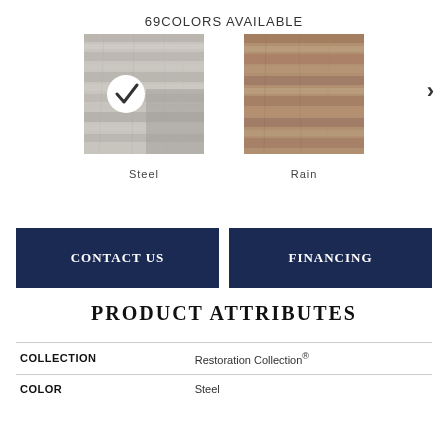69COLORS AVAILABLE
[Figure (photo): Two flooring color swatches: Steel (grey wood grain, with checkmark selected) and Rain (brown wood grain). A right arrow navigation button is visible on the right.]
Steel
Rain
CONTACT US
FINANCING
PRODUCT ATTRIBUTES
|  |  |
| --- | --- |
| COLLECTION | Restoration Collection® |
| COLOR | Steel |